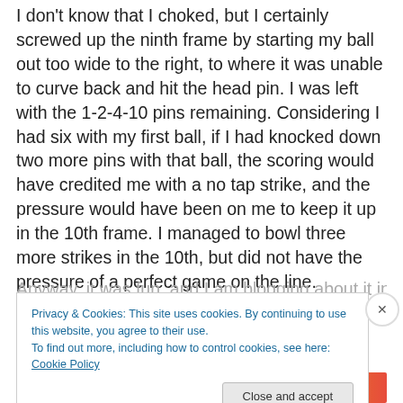I don't know that I choked, but I certainly screwed up the ninth frame by starting my ball out too wide to the right, to where it was unable to curve back and hit the head pin. I was left with the 1-2-4-10 pins remaining. Considering I had six with my first ball, if I had knocked down two more pins with that ball, the scoring would have credited me with a no tap strike, and the pressure would have been on me to keep it up in the 10th frame. I managed to bowl three more strikes in the 10th, but did not have the pressure of a perfect game on the line.
Anyway, it was fun, and I am blogging about it in case
Privacy & Cookies: This site uses cookies. By continuing to use this website, you agree to their use.
To find out more, including how to control cookies, see here: Cookie Policy